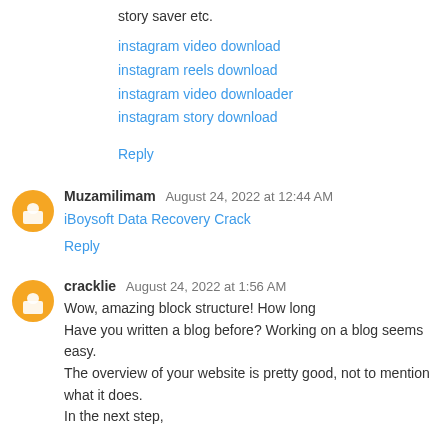story saver etc.
instagram video download
instagram reels download
instagram video downloader
instagram story download
Reply
Muzamilimam  August 24, 2022 at 12:44 AM
iBoysoft Data Recovery Crack
Reply
cracklie  August 24, 2022 at 1:56 AM
Wow, amazing block structure! How long
Have you written a blog before? Working on a blog seems easy.
The overview of your website is pretty good, not to mention what it does.